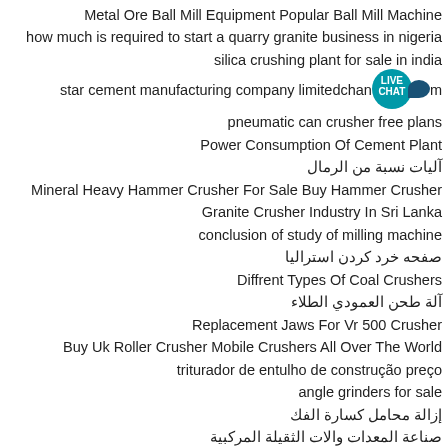Metal Ore Ball Mill Equipment Popular Ball Mill Machine
how much is required to start a quarry granite business in nigeria
silica crushing plant for sale in india
star cement manufacturing company limitedchang… [LIVE CHAT badge]
pneumatic can crusher free plans
Power Consumption Of Cement Plant
آليات نسبة من الرمال
Mineral Heavy Hammer Crusher For Sale Buy Hammer Crusher
Granite Crusher Industry In Sri Lanka
conclusion of study of milling machine
صفحه خرد کردن استرالیا
Diffrent Types Of Coal Crushers
آلة طحن العمودي الطلاء
Replacement Jaws For Vr 500 Crusher
Buy Uk Roller Crusher Mobile Crushers All Over The World
triturador de entulho de construção preço
angle grinders for sale
إزالة محامل كسارة الفك
صناعة المعدات والات الثقيلة المركبية
how to manage level 33candy crush